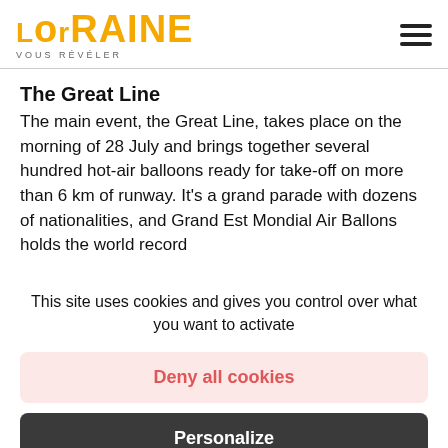LorRAINE VOUS RÉVÉLER
The Great Line
The main event, the Great Line, takes place on the morning of 28 July and brings together several hundred hot-air balloons ready for take-off on more than 6 km of runway. It's a grand parade with dozens of nationalities, and Grand Est Mondial Air Ballons holds the world record
This site uses cookies and gives you control over what you want to activate
Deny all cookies
Personalize
OK, accept all